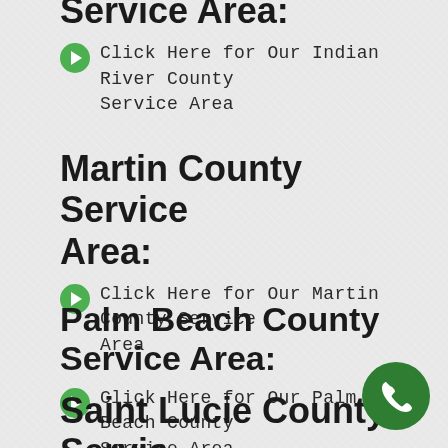Service Area:
Click Here for Our Indian River County Service Area
Martin County Service Area:
Click Here for Our Martin County Service Area
Palm Beach County Service Area:
Click Here for Our Palm Beach County Service Area
Saint Lucie County Service